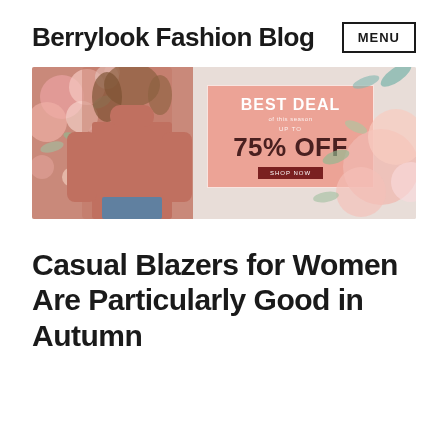Berrylook Fashion Blog
[Figure (infographic): Fashion blog banner advertisement showing a woman in a salmon/terracotta colored turtleneck sweater with floral decorations on the left side, a pink deal box in the center reading BEST DEAL 75% OFF with a SHOP NOW button, and floral decorations on the right side.]
Casual Blazers for Women Are Particularly Good in Autumn